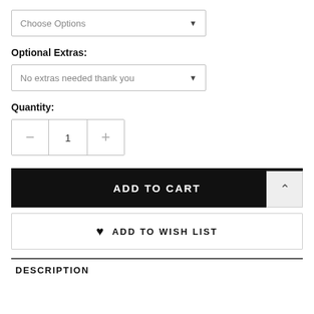Choose Options
Optional Extras:
No extras needed thank you
Quantity:
1
ADD TO CART
ADD TO WISH LIST
DESCRIPTION